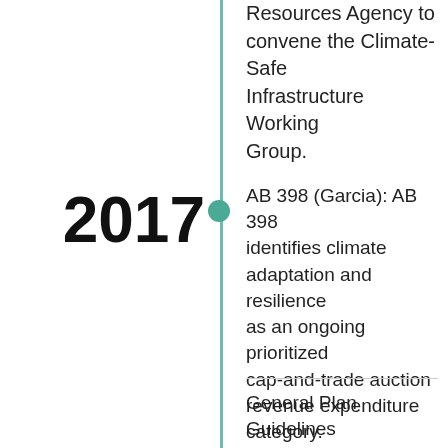Resources Agency to convene the Climate-Safe Infrastructure Working Group.
2017
AB 398 (Garcia): AB 398 identifies climate adaptation and resilience as an ongoing prioritized cap-and-trade auction revenue expenditure category.
General Plan Guidelines Update: These guidelines